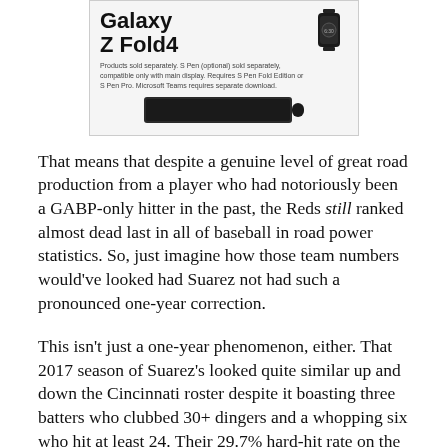[Figure (other): Advertisement for Samsung Galaxy Z Fold4 showing product image with text: 'Products sold separately. S Pen (optional) sold separately, compatible only with main display. Requires S Pen Fold Edition or S Pen Pro. Microsoft Teams requires separate download.']
That means that despite a genuine level of great road production from a player who had notoriously been a GABP-only hitter in the past, the Reds still ranked almost dead last in all of baseball in road power statistics. So, just imagine how those team numbers would've looked had Suarez not had such a pronounced one-year correction.
This isn't just a one-year phenomenon, either. That 2017 season of Suarez's looked quite similar up and down the Cincinnati roster despite it boasting three batters who clubbed 30+ dingers and a whopping six who hit at least 24. Their 29.7% hard-hit rate on the road in 2017 ranked near the bottom of the league as well ...